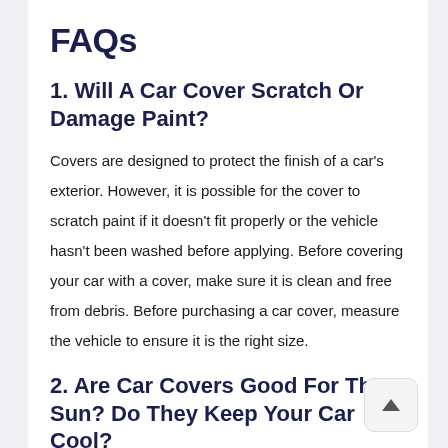FAQs
1. Will A Car Cover Scratch Or Damage Paint?
Covers are designed to protect the finish of a car's exterior. However, it is possible for the cover to scratch paint if it doesn't fit properly or the vehicle hasn't been washed before applying. Before covering your car with a cover, make sure it is clean and free from debris. Before purchasing a car cover, measure the vehicle to ensure it is the right size.
2. Are Car Covers Good For The Sun? Do They Keep Your Car Cool?